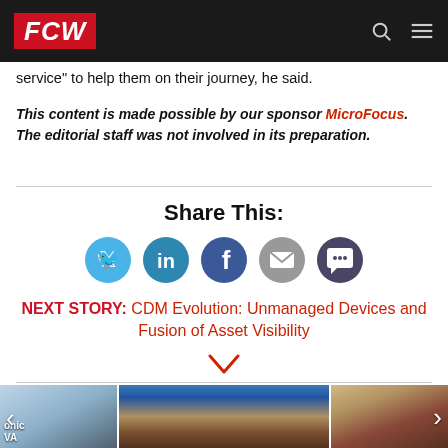FCW
service" to help them on their journey, he said.
This content is made possible by our sponsor MicroFocus. The editorial staff was not involved in its preparation.
Share This:
[Figure (infographic): Social sharing icons: Twitter, LinkedIn, Facebook, Email, Comment]
NEXT STORY: CDM Evolution: Unmanaged Devices and Fusion of Asset Visibility
[Figure (photo): Three thumbnail images: a person in a lab coat, a government building exterior, and an American flag with a podium]